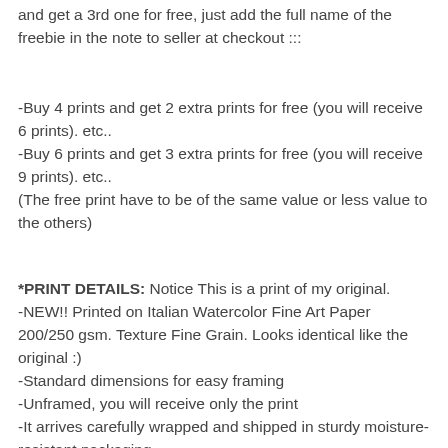and get a 3rd one for free, just add the full name of the freebie in the note to seller at checkout :::
-Buy 4 prints and get 2 extra prints for free (you will receive 6 prints). etc..
-Buy 6 prints and get 3 extra prints for free (you will receive 9 prints). etc..
(The free print have to be of the same value or less value to the others)
*PRINT DETAILS: Notice This is a print of my original.
-NEW!! Printed on Italian Watercolor Fine Art Paper 200/250 gsm. Texture Fine Grain. Looks identical like the original :)
-Standard dimensions for easy framing
-Unframed, you will receive only the print
-It arrives carefully wrapped and shipped in sturdy moisture-resistant packaging.